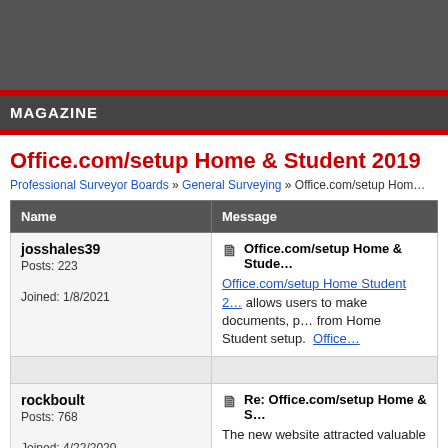MAGAZINE
Office.com/setup Home & Student 2019
Professional Surveyor Boards » General Surveying » Office.com/setup Hom…
| Name | Message |
| --- | --- |
| josshales39
Posts: 223

Joined: 1/8/2021 | Office.com/setup Home & Stude…
Office.com/setup Home Student 2… allows users to make documents, p… from Home Student setup.  Office… |
|  |  |
| rockboult
Posts: 768

Joined: 4/22/2020 | Re: Office.com/setup Home & S…
The new website attracted valuable c… firm SF |